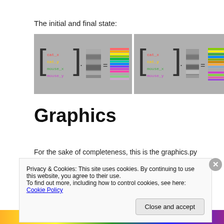The initial and final state:
[Figure (illustration): Two side-by-side matrix equations on a gray background showing initial and final states. Each shows a column vector [cat_x, cat_y, mouse_x, mouse_y] multiplied by a small grayscale image equal to a color-banded rectangular image. Labels are color-coded: cat_x in red, cat_y in yellow, mouse_x in green, mouse_y in purple.]
Graphics
For the sake of completeness, this is the graphics.py
Privacy & Cookies: This site uses cookies. By continuing to use this website, you agree to their use.
To find out more, including how to control cookies, see here: Cookie Policy
Close and accept